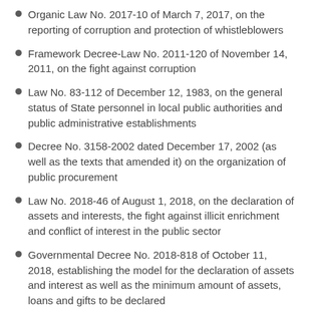Organic Law No. 2017-10 of March 7, 2017, on the reporting of corruption and protection of whistleblowers
Framework Decree-Law No. 2011-120 of November 14, 2011, on the fight against corruption
Law No. 83-112 of December 12, 1983, on the general status of State personnel in local public authorities and public administrative establishments
Decree No. 3158-2002 dated December 17, 2002 (as well as the texts that amended it) on the organization of public procurement
Law No. 2018-46 of August 1, 2018, on the declaration of assets and interests, the fight against illicit enrichment and conflict of interest in the public sector
Governmental Decree No. 2018-818 of October 11, 2018, establishing the model for the declaration of assets and interest as well as the minimum amount of assets, loans and gifts to be declared